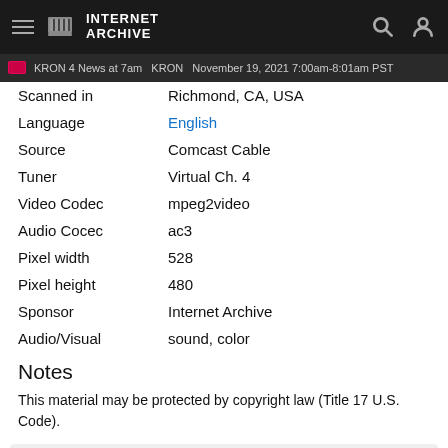Internet Archive
KRON 4 News at 7am  KRON  November 19, 2021 7:00am-8:01am PST
| Scanned in | Richmond, CA, USA |
| Language | English |
| Source | Comcast Cable |
| Tuner | Virtual Ch. 4 |
| Video Codec | mpeg2video |
| Audio Cocec | ac3 |
| Pixel width | 528 |
| Pixel height | 480 |
| Sponsor | Internet Archive |
| Audio/Visual | sound, color |
Notes
This material may be protected by copyright law (Title 17 U.S. Code).
55 Views